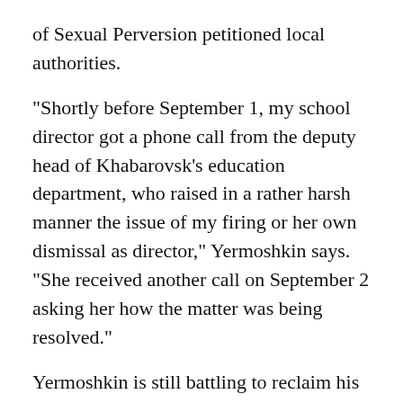of Sexual Perversion petitioned local authorities.
"Shortly before September 1, my school director got a phone call from the deputy head of Khabarovsk's education department, who raised in a rather harsh manner the issue of my firing or her own dismissal as director," Yermoshkin says. "She received another call on September 2 asking her how the matter was being resolved."
Yermoshkin is still battling to reclaim his job.
Persecuted Minority
The plight of Russia's homosexuals has drawn